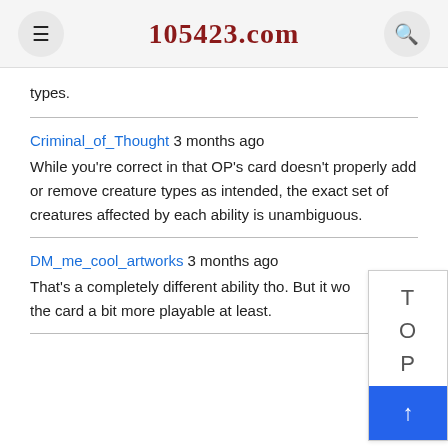105423.com
types.
Criminal_of_Thought 3 months ago
While you're correct in that OP's card doesn't properly add or remove creature types as intended, the exact set of creatures affected by each ability is unambiguous.
DM_me_cool_artworks 3 months ago
That's a completely different ability tho. But it would make the card a bit more playable at least.